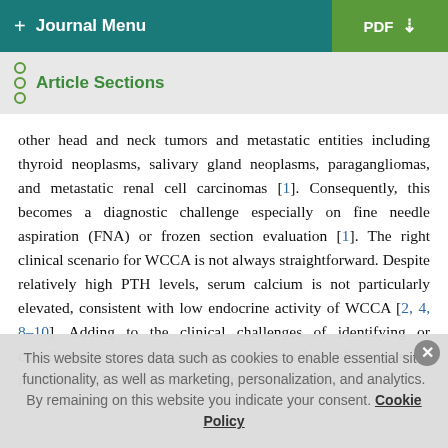+ Journal Menu | PDF ↓
Article Sections
other head and neck tumors and metastatic entities including thyroid neoplasms, salivary gland neoplasms, paragangliomas, and metastatic renal cell carcinomas [1]. Consequently, this becomes a diagnostic challenge especially on fine needle aspiration (FNA) or frozen section evaluation [1]. The right clinical scenario for WCCA is not always straightforward. Despite relatively high PTH levels, serum calcium is not particularly elevated, consistent with low endocrine activity of WCCA [2, 4, 8–10]. Adding to the clinical challenges of identifying or classifying this rare malignancy, there is a lack of literature to reference for WCCA specific treatment indications.
This website stores data such as cookies to enable essential site functionality, as well as marketing, personalization, and analytics. By remaining on this website you indicate your consent. Cookie Policy